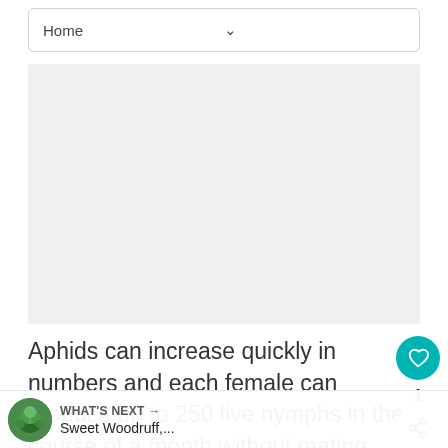Home
[Figure (other): Gray placeholder area for an advertisement or image]
Aphids can increase quickly in numbers and each female can produce up to 250 live nymphs in the course of a month without mating. Aphids often appear when the environment changes - spring & fall often massed at the tips of branches feeding on succulent tissue. Aphids are attracted to the
WHAT'S NEXT → Sweet Woodruff,...